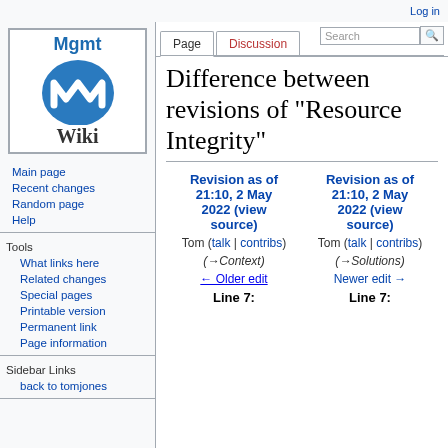Log in
[Figure (logo): Mgmt Wiki logo with blue circular emblem and stylized W]
Main page
Recent changes
Random page
Help
Tools
What links here
Related changes
Special pages
Printable version
Permanent link
Page information
Sidebar Links
back to tomjones
Difference between revisions of "Resource Integrity"
| Revision as of 21:10, 2 May 2022 (view source) | Revision as of 21:10, 2 May 2022 (view source) |
| --- | --- |
| Tom (talk | contribs) | Tom (talk | contribs) |
| (→Context) | (→Solutions) |
| ← Older edit | Newer edit → |
Line 7:	Line 7: